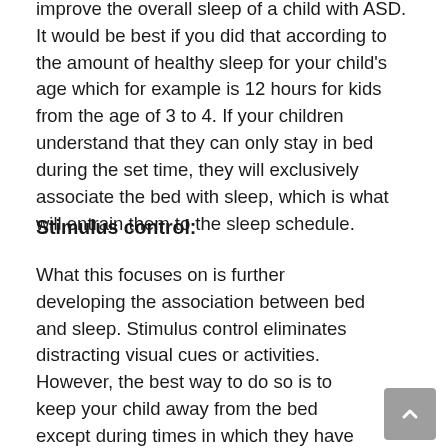improve the overall sleep of a child with ASD. It would be best if you did that according to the amount of healthy sleep for your child's age which for example is 12 hours for kids from the age of 3 to 4. If your children understand that they can only stay in bed during the set time, they will exclusively associate the bed with sleep, which is what will entrain them to the sleep schedule.
Stimulus control:
What this focuses on is further developing the association between bed and sleep. Stimulus control eliminates distracting visual cues or activities. However, the best way to do so is to keep your child away from the bed except during times in which they have to go to sleep, take a nap, or remove an item...